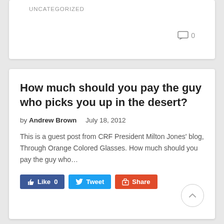UNCATEGORIZED
How much should you pay the guy who picks you up in the desert?
by Andrew Brown   July 18, 2012
This is a guest post from CRF President Milton Jones' blog, Through Orange Colored Glasses. How much should you pay the guy who…